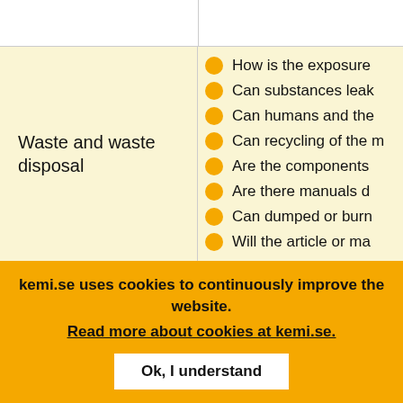Waste and waste disposal
How is the exposure
Can substances leak
Can humans and the
Can recycling of the m
Are the components
Are there manuals d
Can dumped or burn
Will the article or ma
kemi.se uses cookies to continuously improve the website. Read more about cookies at kemi.se.
Ok, I understand